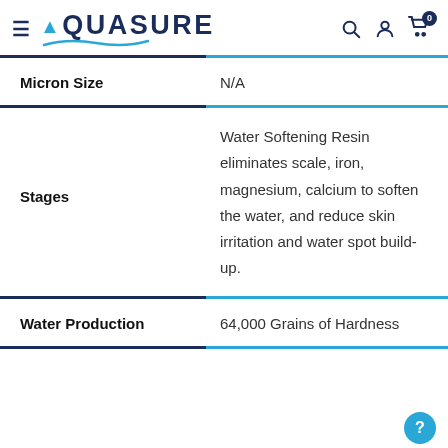AQUASURE
| Attribute | Value |
| --- | --- |
| Micron Size | N/A |
| Stages | Water Softening Resin eliminates scale, iron, magnesium, calcium to soften the water, and reduce skin irritation and water spot build-up. |
| Water Production | 64,000 Grains of Hardness |